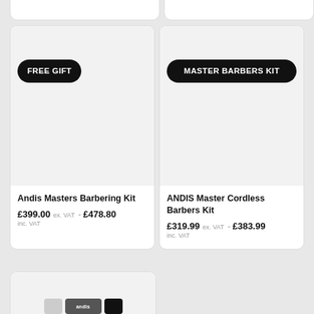[Figure (screenshot): Top of page showing cropped bottoms of two product cards above the main cards]
[Figure (screenshot): Product card for 'Andis Masters Barbering Kit' with FREE GIFT badge, grey image area]
Andis Masters Barbering Kit
£399.00 ex. VAT - £478.80 inc. VAT
[Figure (screenshot): Product card for 'ANDIS Master Cordless Barbers Kit' with MASTER BARBERS KIT badge, grey image area]
ANDIS Master Cordless Barbers Kit
£319.99 ex. VAT - £383.99 inc. VAT
[Figure (screenshot): Bottom partial product card with grey image area and small Andis logo buttons visible]